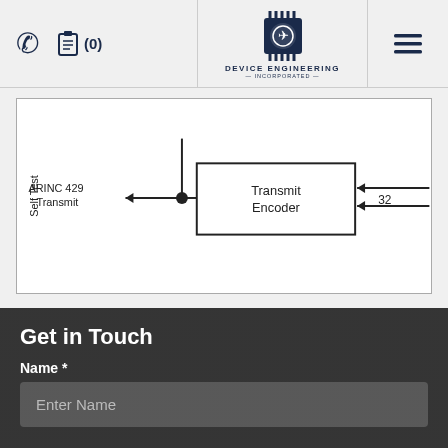[Figure (screenshot): Navigation bar with phone icon, clipboard icon with (0), Device Engineering Incorporated logo (chip with airplane icon), and hamburger menu]
[Figure (engineering-diagram): Block diagram showing ARINC 429 Transmit connected via arrow to a junction point, with Self Test label above, connected to Transmit Encoder block, which has a 32-line input from the right]
Get in Touch
Name *
Enter Name